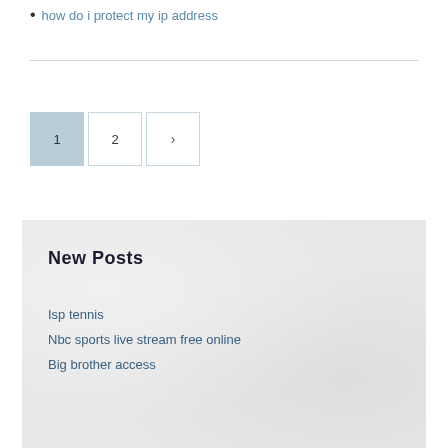how do i protect my ip address
1  2  >
New Posts
Isp tennis
Nbc sports live stream free online
Big brother access